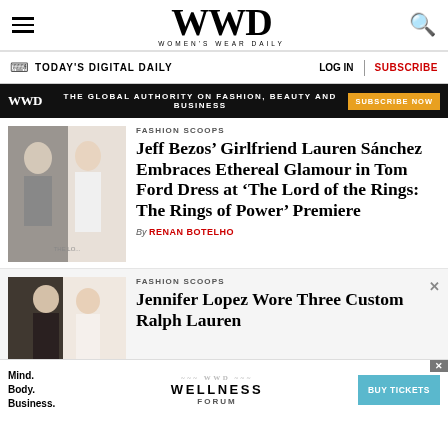WWD — WOMEN'S WEAR DAILY
TODAY'S DIGITAL DAILY | LOG IN | SUBSCRIBE
[Figure (infographic): WWD ad banner: THE GLOBAL AUTHORITY ON FASHION, BEAUTY AND BUSINESS | SUBSCRIBE NOW]
[Figure (photo): Photo of Jeff Bezos and Lauren Sánchez at premiere]
FASHION SCOOPS
Jeff Bezos’ Girlfriend Lauren Sánchez Embraces Ethereal Glamour in Tom Ford Dress at ‘The Lord of the Rings: The Rings of Power’ Premiere
By RENAN BOTELHO
[Figure (photo): Photo of Jennifer Lopez and Ben Affleck at event]
FASHION SCOOPS
Jennifer Lopez Wore Three Custom Ralph Lauren
[Figure (infographic): Bottom ad: Mind. Body. Business. WWD WELLNESS FORUM | BUY TICKETS]